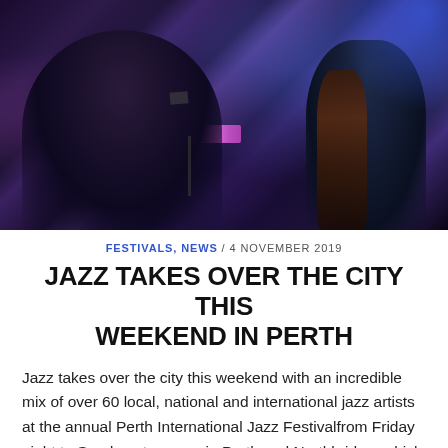[Figure (photo): Jazz musicians performing on stage at night — a pianist seen from behind at a grand piano with glowing pink/purple keys, and a double bass player on the right, with blue stage lighting and an audience in the background.]
FESTIVALS, NEWS / 4 NOVEMBER 2019
JAZZ TAKES OVER THE CITY THIS WEEKEND IN PERTH
Jazz takes over the city this weekend with an incredible mix of over 60 local, national and international jazz artists at the annual Perth International Jazz Festivalfrom Friday night to Sunday at venues in Perth and Northbridge, which includes free and ticketed performances,